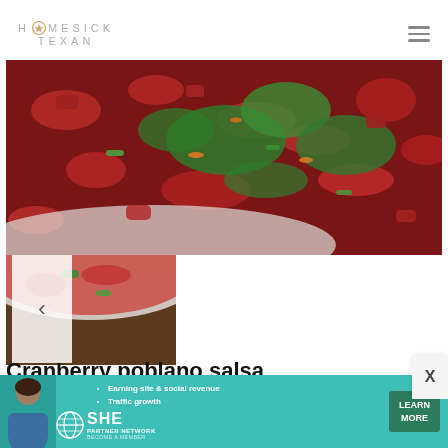HOMESICK TEXAN
[Figure (photo): Close-up photo of cranberry poblano salsa in a white ceramic bowl, showing dark red cranberry pieces with green cilantro, green peppers, and orange zest. Photo shown partially in a slideshow format with a left arrow navigation button.]
Cranberry poblano salsa
[Figure (infographic): Advertisement banner for SHE Partner Network with teal background, woman's photo on left, bullet points: Earning site & social revenue, Traffic growth. SHE Partner Network globe logo. LEARN MORE green button. BECOME A MEMBER text.]